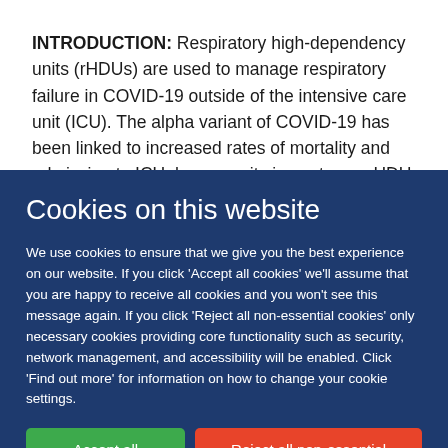INTRODUCTION: Respiratory high-dependency units (rHDUs) are used to manage respiratory failure in COVID-19 outside of the intensive care unit (ICU). The alpha variant of COVID-19 has been linked to increased rates of mortality and admission to ICU; however, its impact on a rHDU population is not
Cookies on this website
We use cookies to ensure that we give you the best experience on our website. If you click 'Accept all cookies' we'll assume that you are happy to receive all cookies and you won't see this message again. If you click 'Reject all non-essential cookies' only necessary cookies providing core functionality such as security, network management, and accessibility will be enabled. Click 'Find out more' for information on how to change your cookie settings.
Accept all cookies
Reject all non-essential cookies